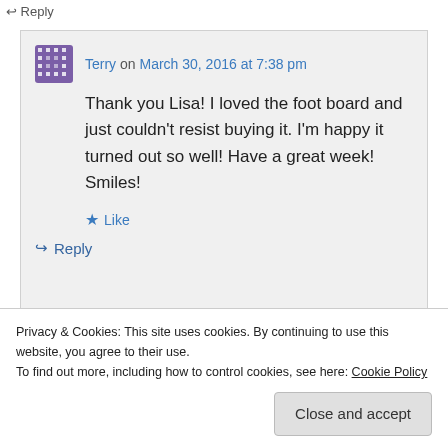↩ Reply
Terry on March 30, 2016 at 7:38 pm
Thank you Lisa! I loved the foot board and just couldn't resist buying it. I'm happy it turned out so well! Have a great week! Smiles!
★ Like
↪ Reply
Privacy & Cookies: This site uses cookies. By continuing to use this website, you agree to their use.
To find out more, including how to control cookies, see here: Cookie Policy
Close and accept